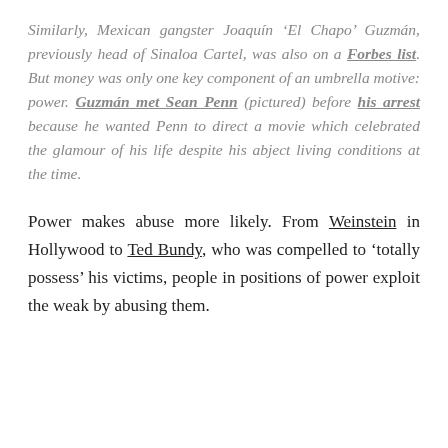Similarly, Mexican gangster Joaquín 'El Chapo' Guzmán, previously head of Sinaloa Cartel, was also on a Forbes list. But money was only one key component of an umbrella motive: power. Guzmán met Sean Penn (pictured) before his arrest because he wanted Penn to direct a movie which celebrated the glamour of his life despite his abject living conditions at the time.
Power makes abuse more likely. From Weinstein in Hollywood to Ted Bundy, who was compelled to 'totally possess' his victims, people in positions of power exploit the weak by abusing them.